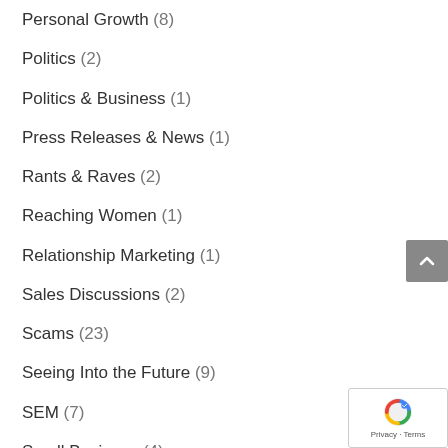Personal Growth (8)
Politics (2)
Politics & Business (1)
Press Releases & News (1)
Rants & Raves (2)
Reaching Women (1)
Relationship Marketing (1)
Sales Discussions (2)
Scams (23)
Seeing Into the Future (9)
SEM (7)
Small Business (4)
Social Media (30+)